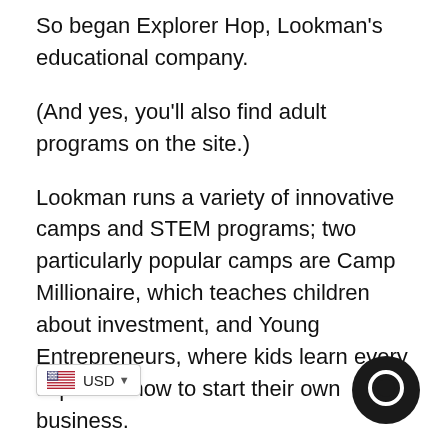So began Explorer Hop, Lookman's educational company.
(And yes, you'll also find adult programs on the site.)
Lookman runs a variety of innovative camps and STEM programs; two particularly popular camps are Camp Millionaire, which teaches children about investment, and Young Entrepreneurs, where kids learn every aspect of how to start their own business.
Camp Millionaire, which is for ages 10-14 [...]rtual portfolio, letting them in[vest] $10,000 in virtual cash